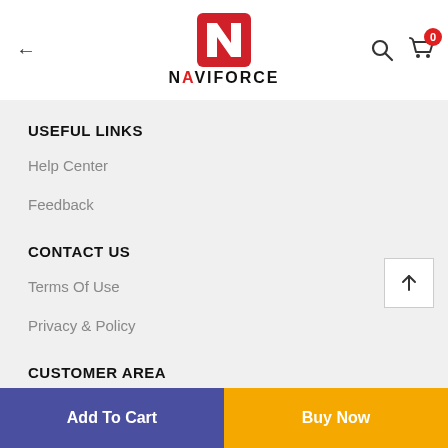NAVIFORCE – back arrow, search icon, cart (0)
USEFUL LINKS
Help Center
Feedback
CONTACT US
Terms Of Use
Privacy & Policy
CUSTOMER AREA
Account
Wishlist
Add To Cart
Buy Now